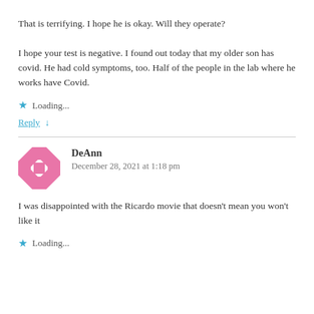That is terrifying. I hope he is okay. Will they operate?

I hope your test is negative. I found out today that my older son has covid. He had cold symptoms, too. Half of the people in the lab where he works have Covid.
Loading...
Reply ↓
DeAnn
December 28, 2021 at 1:18 pm
I was disappointed with the Ricardo movie that doesn't mean you won't like it
Loading...